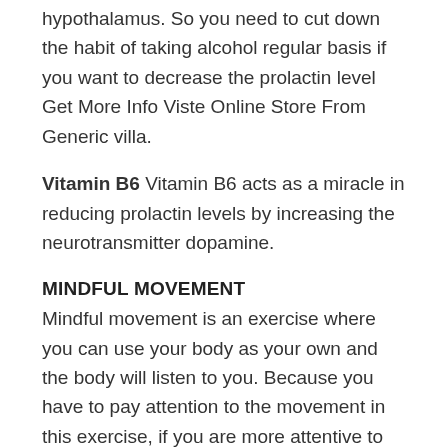hypothalamus. So you need to cut down the habit of taking alcohol regular basis if you want to decrease the prolactin level Get More Info Viste Online Store From Generic villa.
Vitamin B6 Vitamin B6 acts as a miracle in reducing prolactin levels by increasing the neurotransmitter dopamine.
MINDFUL MOVEMENT
Mindful movement is an exercise where you can use your body as your own and the body will listen to you. Because you have to pay attention to the movement in this exercise, if you are more attentive to doing the Meditative movements, it can encourage you to listen to what your body wants, instead of forcing it to do